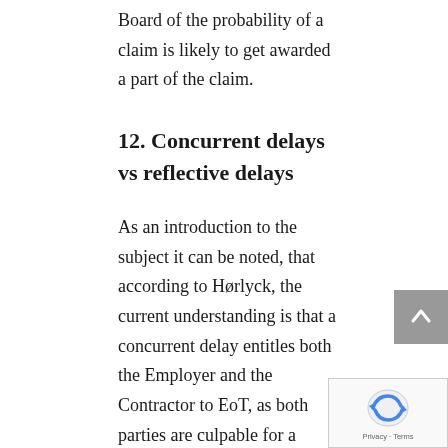Board of the probability of a claim is likely to get awarded a part of the claim.
12. Concurrent delays vs reflective delays
As an introduction to the subject it can be noted, that according to Hørlyck, the current understanding is that a concurrent delay entitles both the Employer and the Contractor to EoT, as both parties are culpable for a delay. However due to the delay being concurrent, it negates both the Employers and